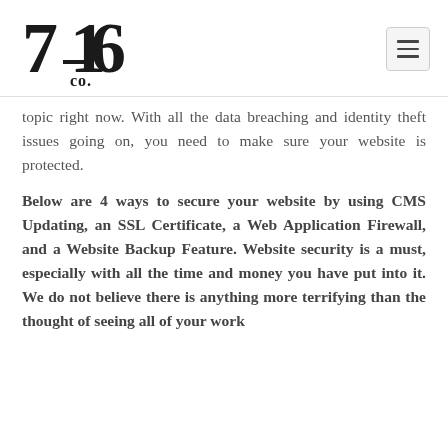[Figure (logo): 716 Co. logo — stylized bold numerals '716' with 'co.' below, in black serif typeface]
topic right now. With all the data breaching and identity theft issues going on, you need to make sure your website is protected.
Below are 4 ways to secure your website by using CMS Updating, an SSL Certificate, a Web Application Firewall, and a Website Backup Feature. Website security is a must, especially with all the time and money you have put into it. We do not believe there is anything more terrifying than the thought of seeing all of your work